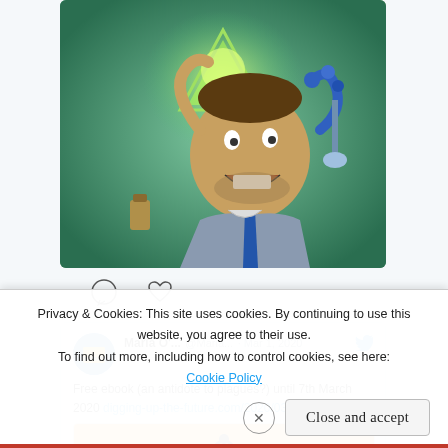[Figure (illustration): Cartoon/illustration of a man laughing and holding a green glowing triangular flask, with blue creature hands in the background and laboratory equipment, set against a green background.]
[Figure (screenshot): Tweet by Maria O'... (@Maria...) dated Mar 1, 2020. Text: 'Free ebook (an antidote to plagues?) until 7th March 2020 digging-up-the-future.com/2020/03/01/fre...' with a biohazard symbol image below.]
Privacy & Cookies: This site uses cookies. By continuing to use this website, you agree to their use.
To find out more, including how to control cookies, see here:
Cookie Policy
Close and accept